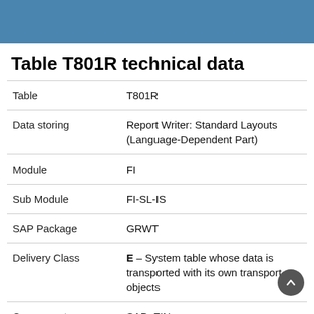[Figure (other): Blue decorative header bar]
Table T801R technical data
| Field | Value |
| --- | --- |
| Table | T801R |
| Data storing | Report Writer: Standard Layouts (Language-Dependent Part) |
| Module | FI |
| Sub Module | FI-SL-IS |
| SAP Package | GRWT |
| Delivery Class | E – System table whose data is transported with its own transport objects |
| Component | SAP_FIN |